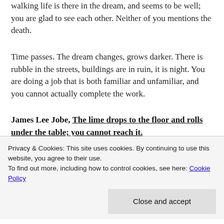walking life is there in the dream, and seems to be well; you are glad to see each other. Neither of you mentions the death.
Time passes. The dream changes, grows darker. There is rubble in the streets, buildings are in ruin, it is night. You are doing a job that is both familiar and unfamiliar, and you cannot actually complete the work.
James Lee Jobe, The lime drops to the floor and rolls under the table; you cannot reach it.
Privacy & Cookies: This site uses cookies. By continuing to use this website, you agree to their use. To find out more, including how to control cookies, see here: Cookie Policy
Close and accept
prior to lockdown, there's now a veritable